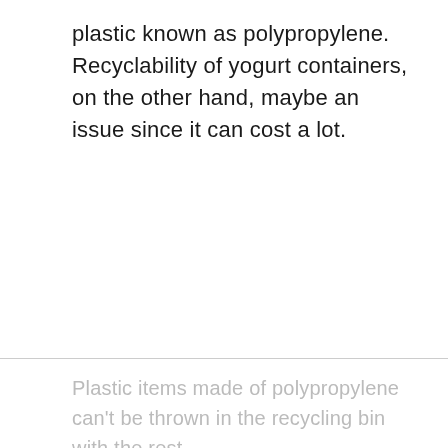plastic known as polypropylene. Recyclability of yogurt containers, on the other hand, maybe an issue since it can cost a lot.
Plastic items made of polypropylene can't be thrown in the recycling bin with the rest